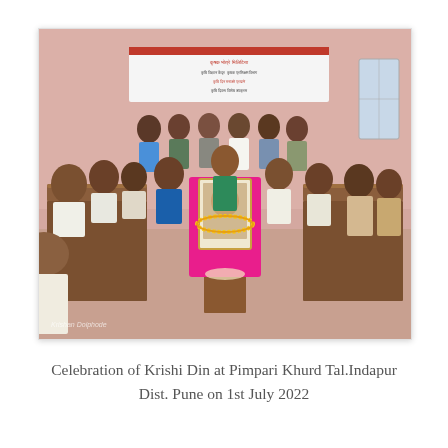[Figure (photo): A group of people gathered around two long wooden tables arranged in a U-shape inside a pink-walled room. A framed portrait of a person adorned with flower garlands and placed on a pink cloth is at the center. A banner with text in Hindi/Marathi is visible in the background. People are seated and standing. A watermark reads 'Krishan Doiphode' in the bottom left corner.]
Celebration of Krishi Din at Pimpari Khurd Tal.Indapur Dist. Pune on 1st July 2022